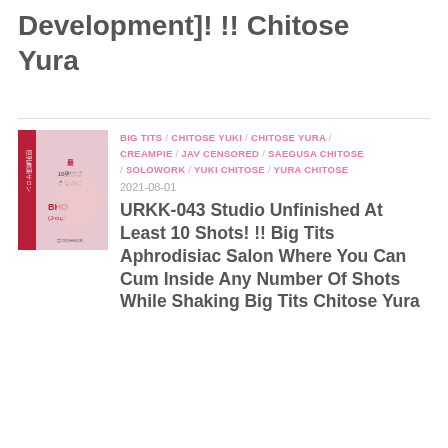Development]! !! Chitose Yura
BIG TITS / CHITOSE YUKI / CHITOSE YURA / CREAMPIE / JAV CENSORED / SAEGUSA CHITOSE / SOLOWORK / YUKI CHITOSE / YURA CHITOSE
2021-08-01
[Figure (photo): DVD cover thumbnail showing a woman in a salon setting]
URKK-043 Studio Unfinished At Least 10 Shots! !! Big Tits Aphrodisiac Salon Where You Can Cum Inside Any Number Of Shots While Shaking Big Tits Chitose Yura